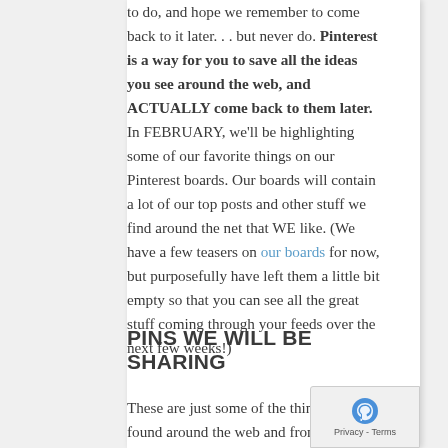to do, and hope we remember to come back to it later... but never do. Pinterest is a way for you to save all the ideas you see around the web, and ACTUALLY come back to them later. In FEBRUARY, we'll be highlighting some of our favorite things on our Pinterest boards. Our boards will contain a lot of our top posts and other stuff we find around the net that WE like. (We have a few teasers on our boards for now, but purposefully have left them a little bit empty so that you can see all the great stuff coming through your feeds over the next few weeks!)
PINS WE WILL BE SHARING
These are just some of the things we have found around the web and from our site that we will be